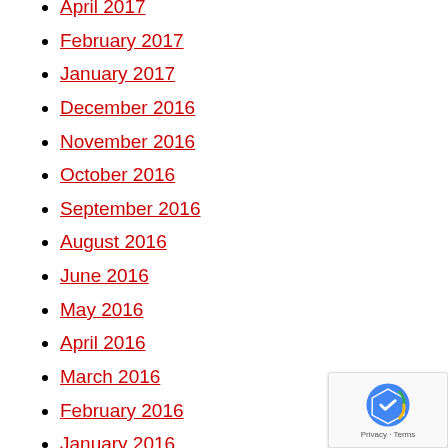April 2017
February 2017
January 2017
December 2016
November 2016
October 2016
September 2016
August 2016
June 2016
May 2016
April 2016
March 2016
February 2016
January 2016